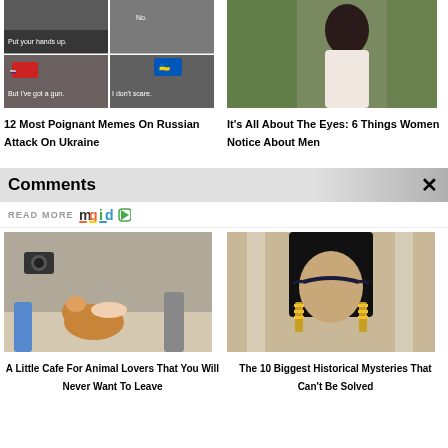[Figure (photo): Meme collage about Russian attack on Ukraine with movie scene dialogue]
12 Most Poignant Memes On Russian Attack On Ukraine
[Figure (photo): Woman in white top looking away in outdoor setting]
It's All About The Eyes: 6 Things Women Notice About Men
Comments
READ MORE mgid
[Figure (photo): Corgi dog being petted at a cafe with people and cameras around]
A Little Cafe For Animal Lovers That You Will Never Want To Leave
[Figure (photo): Woman dressed as Cleopatra with elaborate headdress and eye makeup]
The 10 Biggest Historical Mysteries That Can't Be Solved